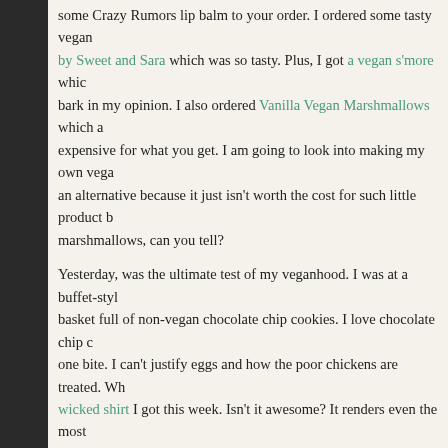some Crazy Rumors lip balm to your order. I ordered some tasty vegan by Sweet and Sara which was so tasty. Plus, I got a vegan s'more which bark in my opinion. I also ordered Vanilla Vegan Marshmallows which a expensive for what you get. I am going to look into making my own vega an alternative because it just isn't worth the cost for such little product b marshmallows, can you tell?
Yesterday, was the ultimate test of my veganhood. I was at a buffet-style basket full of non-vegan chocolate chip cookies. I love chocolate chip c one bite. I can't justify eggs and how the poor chickens are treated. Wh wicked shirt I got this week. Isn't it awesome? It renders even the most speechless.
I needed some new clothes this week. I found a vegan straightedge hoo Looks like they are going fast. I am going to sew a Born/Dead patch on anarcho-punk themed t-shirts from punkstuff.com. So, I should be set ir sometime now.
My attempts at forming an Amnesty International is going slow but still g group off the ground.
Comments (0) | Tags: lip balm, punk, Vegan, yum yu
PETA Kills Animals
Posted on Monday, February 22, 2010 in Vegan
PETA is a group of hypocrites. They kill animals. I was in a vegan group So, I voiced my opposition to the group with creditable sources stating t